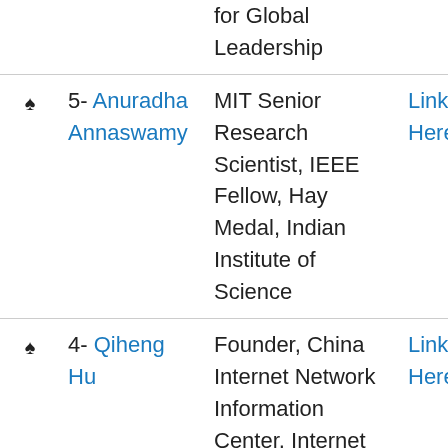|  | Name | Description | Link |
| --- | --- | --- | --- |
| ♠ | 5- Anuradha Annaswamy | MIT Senior Research Scientist, IEEE Fellow, Hay Medal, Indian Institute of Science | Linked Here |
| ♠ | 4- Qiheng Hu | Founder, China Internet Network Information Center, Internet Hall of | Linked Here |